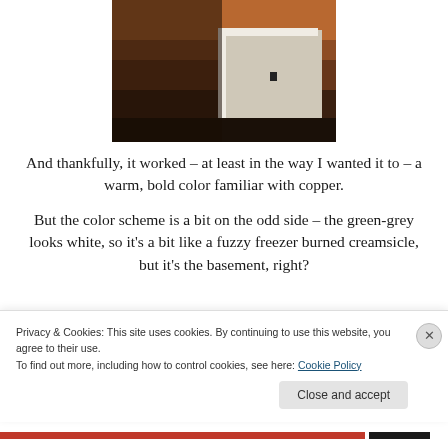[Figure (photo): Interior photo of a basement stairwell or corner with orange/copper painted wall on upper portion and white/grey trim and wall below, dark flooring visible, electrical outlet on white wall]
And thankfully, it worked – at least in the way I wanted it to – a warm, bold color familiar with copper.
But the color scheme is a bit on the odd side – the green-grey looks white, so it's a bit like a fuzzy freezer burned creamsicle, but it's the basement, right?
Privacy & Cookies: This site uses cookies. By continuing to use this website, you agree to their use.
To find out more, including how to control cookies, see here: Cookie Policy